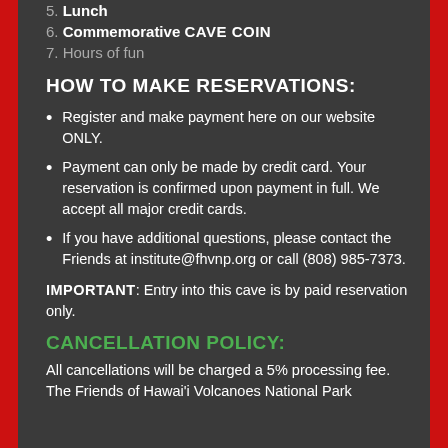5. Lunch
6. Commemorative CAVE COIN
7. Hours of fun
HOW TO MAKE RESERVATIONS:
Register and make payment here on our website ONLY.
Payment can only be made by credit card. Your reservation is confirmed upon payment in full. We accept all major credit cards.
If you have additional questions, please contact the Friends at institute@fhvnp.org or call (808) 985-7373.
IMPORTANT: Entry into this cave is by paid reservation only.
CANCELLATION POLICY:
All cancellations will be charged a 5% processing fee.  The Friends of Hawai'i Volcanoes National Park